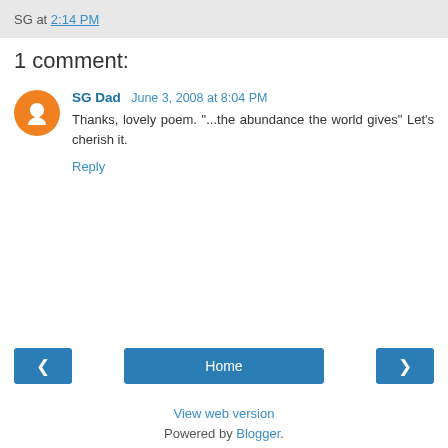SG at 2:14 PM
1 comment:
SG Dad  June 3, 2008 at 8:04 PM
Thanks, lovely poem. "...the abundance the world gives" Let's cherish it.
Reply
Home  View web version  Powered by Blogger.